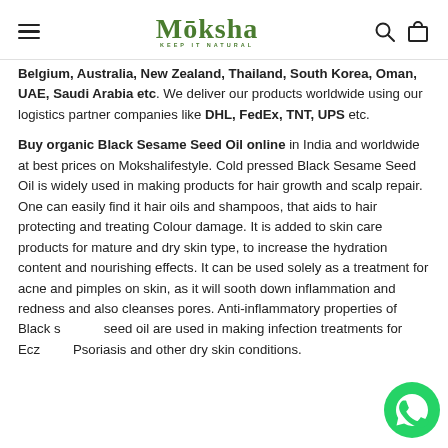Moksha — KEEP IT NATURAL
Belgium, Australia, New Zealand, Thailand, South Korea, Oman, UAE, Saudi Arabia etc. We deliver our products worldwide using our logistics partner companies like DHL, FedEx, TNT, UPS etc.
Buy organic Black Sesame Seed Oil online in India and worldwide at best prices on Mokshalifestyle. Cold pressed Black Sesame Seed Oil is widely used in making products for hair growth and scalp repair. One can easily find it hair oils and shampoos, that aids to hair protecting and treating Colour damage. It is added to skin care products for mature and dry skin type, to increase the hydration content and nourishing effects. It can be used solely as a treatment for acne and pimples on skin, as it will sooth down inflammation and redness and also cleanses pores. Anti-inflammatory properties of Black sesame seed oil are used in making infection treatments for Eczema, Psoriasis and other dry skin conditions.
[Figure (logo): WhatsApp chat icon button in green circle at bottom right]